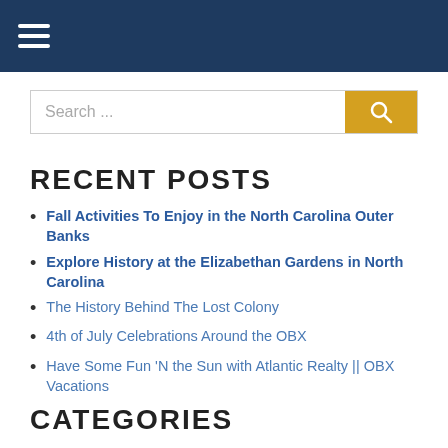Navigation menu header bar
Search ...
RECENT POSTS
Fall Activities To Enjoy in the North Carolina Outer Banks
Explore History at the Elizabethan Gardens in North Carolina
The History Behind The Lost Colony
4th of July Celebrations Around the OBX
Have Some Fun 'N the Sun with Atlantic Realty || OBX Vacations
CATEGORIES
Announcements
Events